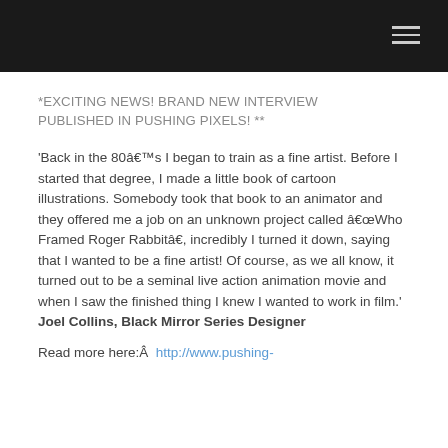*EXCITING NEWS! BRAND NEW INTERVIEW PUBLISHED IN PUSHING PIXELS! **
'Back in the 80â€™s I began to train as a fine artist. Before I started that degree, I made a little book of cartoon illustrations. Somebody took that book to an animator and they offered me a job on an unknown project called â€œWho Framed Roger Rabbitâ€, incredibly I turned it down, saying that I wanted to be a fine artist! Of course, as we all know, it turned out to be a seminal live action animation movie and when I saw the finished thing I knew I wanted to work in film.' Joel Collins, Black Mirror Series Designer
Read more here:Â  http://www.pushing-